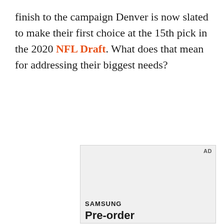finish to the campaign Denver is now slated to make their first choice at the 15th pick in the 2020 NFL Draft. What does that mean for addressing their biggest needs?
[Figure (other): Advertisement box with Samsung branding showing 'Pre-order Galaxy Z Fold4' text on a light gray background with AD label in top right corner]